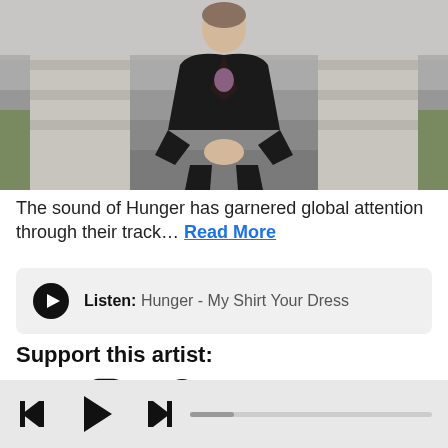[Figure (photo): Man in black leather jacket sitting on outdoor steps, hands clasped in front, urban background with grass and stone steps]
The sound of Hunger has garnered global attention through their track… Read More
Listen: Hunger - My Shirt Your Dress
Support this artist:
[Figure (infographic): Social media icons: globe/website, Facebook, Instagram, Twitter, Spotify, SoundCloud, YouTube, Apple Music]
[Figure (infographic): Audio player controls: skip-back, play, skip-forward buttons with a progress bar]